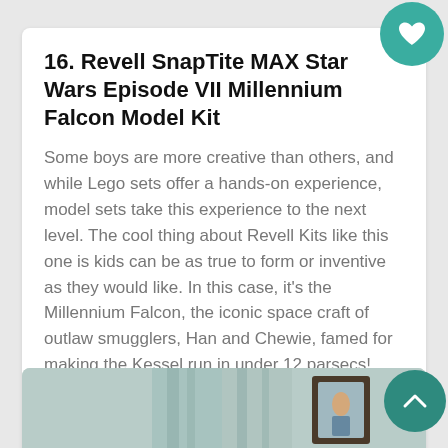16. Revell SnapTite MAX Star Wars Episode VII Millennium Falcon Model Kit
Some boys are more creative than others, and while Lego sets offer a hands-on experience, model sets take this experience to the next level. The cool thing about Revell Kits like this one is kids can be as true to form or inventive as they would like. In this case, it's the Millennium Falcon, the iconic space craft of outlaw smugglers, Han and Chewie, famed for making the Kessel run in under 12 parsecs!
[Figure (screenshot): CHECK IT OUT button in teal and a gray heart icon below the article text]
[Figure (photo): Partial view of a room with curtains and a framed picture, bottom card preview]